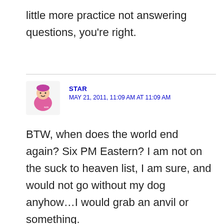little more practice not answering questions, you're right.
STAR
MAY 21, 2011, 11:09 AM AT 11:09 AM
BTW, when does the world end again? Six PM Eastern? I am not on the suck to heaven list, I am sure, and would not go without my dog anyhow…I would grab an anvil or something.